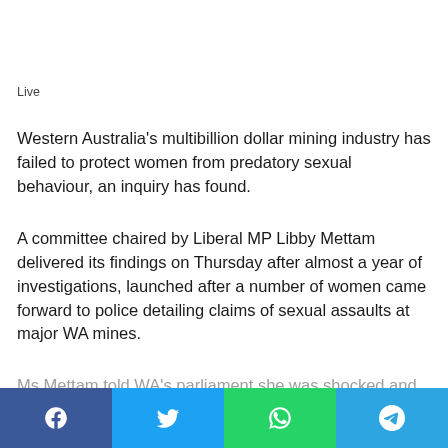Live
Western Australia’s multibillion dollar mining industry has failed to protect women from predatory sexual behaviour, an inquiry has found.
A committee chaired by Liberal MP Libby Mettam delivered its findings on Thursday after almost a year of investigations, launched after a number of women came forward to police detailing claims of sexual assaults at major WA mines.
Ms Mettam told WA’s parliament she was shocked and